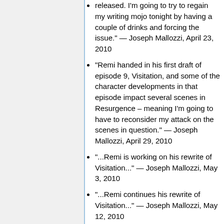released. I'm going to try to regain my writing mojo tonight by having a couple of drinks and forcing the issue." — Joseph Mallozzi, April 23, 2010
"Remi handed in his first draft of episode 9, Visitation, and some of the character developments in that episode impact several scenes in Resurgence – meaning I'm going to have to reconsider my attack on the scenes in question." — Joseph Mallozzi, April 29, 2010
"...Remi is working on his rewrite of Visitation..." — Joseph Mallozzi, May 3, 2010
"...Remi continues his rewrite of Visitation..." — Joseph Mallozzi, May 12, 2010
"Remi is working on his rewrite of